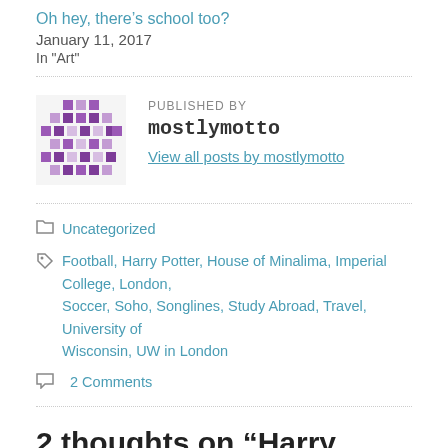Oh hey, there’s school too?
January 11, 2017
In “Art”
PUBLISHED BY
mostlymotto
View all posts by mostlymotto
Uncategorized
Football, Harry Potter, House of Minalima, Imperial College, London, Soccer, Soho, Songlines, Study Abroad, Travel, University of Wisconsin, UW in London
2 Comments
2 thoughts on “Harry Potter & Football”